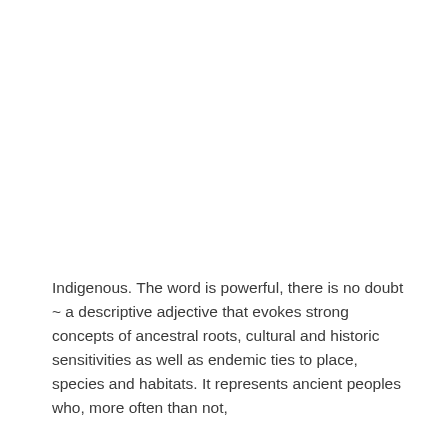Indigenous. The word is powerful, there is no doubt ~ a descriptive adjective that evokes strong concepts of ancestral roots, cultural and historic sensitivities as well as endemic ties to place, species and habitats. It represents ancient peoples who, more often than not,